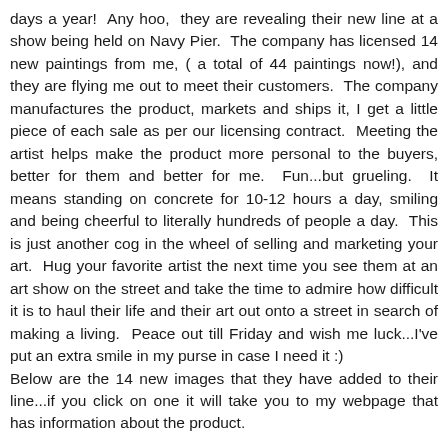days a year!  Any hoo,  they are revealing their new line at a show being held on Navy Pier.  The company has licensed 14 new paintings from me, ( a total of 44 paintings now!), and they are flying me out to meet their customers.  The company manufactures the product, markets and ships it, I get a little piece of each sale as per our licensing contract.  Meeting the artist helps make the product more personal to the buyers, better for them and better for me.  Fun...but grueling.  It means standing on concrete for 10-12 hours a day, smiling and being cheerful to literally hundreds of people a day.  This is just another cog in the wheel of selling and marketing your art.  Hug your favorite artist the next time you see them at an art show on the street and take the time to admire how difficult it is to haul their life and their art out onto a street in search of making a living.  Peace out till Friday and wish me luck...I've put an extra smile in my purse in case I need it :) Below are the 14 new images that they have added to their line...if you click on one it will take you to my webpage that has information about the product.